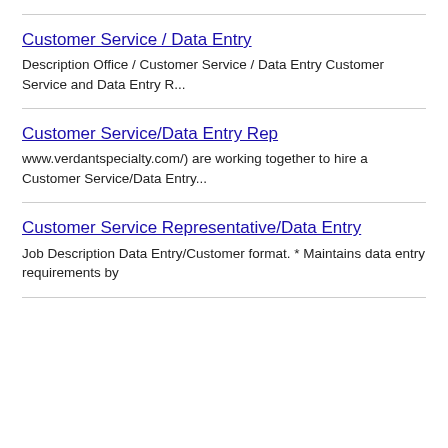Customer Service / Data Entry
Description Office / Customer Service / Data Entry Customer Service and Data Entry R...
Customer Service/Data Entry Rep
www.verdantspecialty.com/) are working together to hire a Customer Service/Data Entry...
Customer Service Representative/Data Entry
Job Description Data Entry/Customer format. * Maintains data entry requirements by